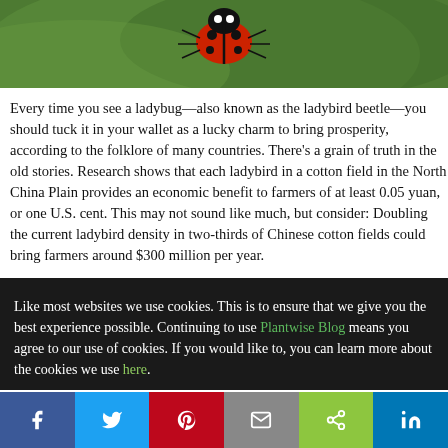[Figure (photo): Close-up photo of a ladybug (ladybird beetle) on a green leaf, showing red shell with black spots, photographed outdoors.]
Every time you see a ladybug—also known as the ladybird beetle—you should tuck it in your wallet as a lucky charm to bring prosperity, according to the folklore of many countries. There's a grain of truth in the old stories. Research shows that each ladybird in a cotton field in the North China Plain provides an economic benefit to farmers of at least 0.05 yuan, or one U.S. cent. This may not sound like much, but consider: Doubling the current ladybird density in two-thirds of Chinese cotton fields could bring farmers around $300 million per year.
Like most websites we use cookies. This is to ensure that we give you the best experience possible. Continuing to use Plantwise Blog means you agree to our use of cookies. If you would like to, you can learn more about the cookies we use here.